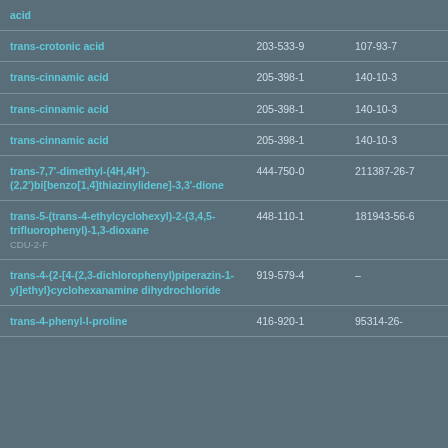| Name | EC Number | CAS Number |
| --- | --- | --- |
| acid |  |  |
| trans-crotonic acid | 203-533-9 | 107-93-7 |
| trans-cinnamic acid | 205-398-1 | 140-10-3 |
| trans-cinnamic acid | 205-398-1 | 140-10-3 |
| trans-cinnamic acid | 205-398-1 | 140-10-3 |
| trans-7,7'-dimethyl-(4H,4H')-(2,2')bi[benzo[1,4]thiazinylidene]-3,3'-dione | 444-750-0 | 211387-26-7 |
| trans-5-(trans-4-ethylcyclohexyl)-2-(3,4,5-trifluorophenyl)-1,3-dioxane
CDU-2-F | 448-110-1 | 181943-56-6 |
| trans-4-{2-[4-(2,3-dichlorophenyl)piperazin-1-yl]ethyl}cyclohexanamine dihydrochloride | 919-579-4 | – |
| trans-4-phenyl-1-proline | 416-920-1 | 95314-26-... |